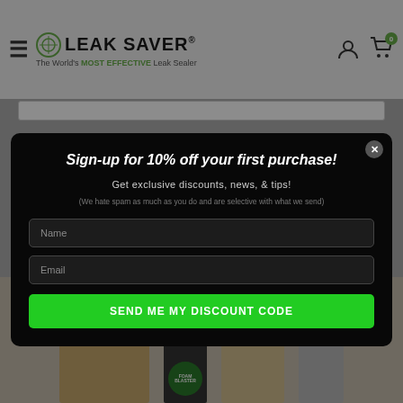[Figure (screenshot): Leak Saver website header with hamburger menu, logo, user icon, and cart icon with badge '0']
[Figure (screenshot): Modal popup on dark overlay with email signup form]
Sign-up for 10% off your first purchase!
Get exclusive discounts, news, & tips!
(We hate spam as much as you do and are selective with what we send)
Name
Email
SEND ME MY DISCOUNT CODE